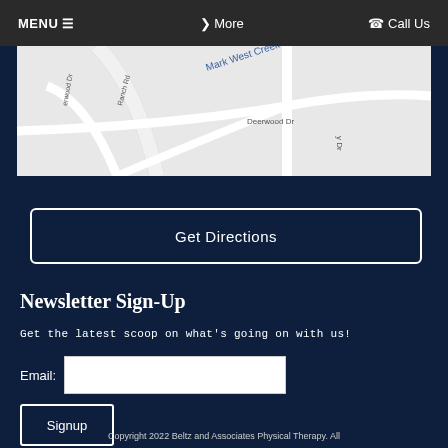MENU ☰   ❯ More   ☎ Call Us
[Figure (map): Street map showing Deerwood Dr, Mark West Creek, Ranch Rd, Deerwood Dr road labels on a light gray road map]
Get Directions
Newsletter Sign-Up
Get the latest scoop on what's going on with us!
Email: [input field]
Signup
Copyright 2022 Beltz and Associates Physical Therapy. All